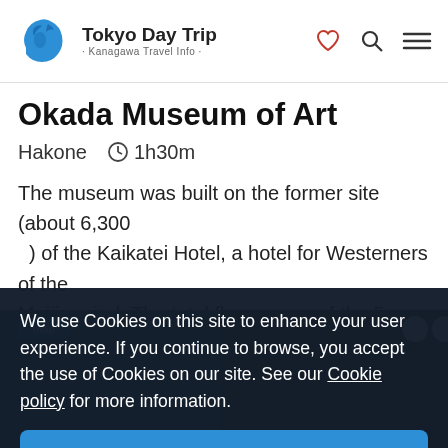Tokyo Day Trip · Kanagawa Travel Info ·
Okada Museum of Art
Hakone   1h30m
The museum was built on the former site (about 6,300 ) of the Kaikatei Hotel, a hotel for Westerners of the Meiji period. The total floor space of the 5 story…
[Figure (photo): Background image of museum/scenery partially visible behind cookie consent overlay]
We use Cookies on this site to enhance your user experience. If you continue to browse, you accept the use of Cookies on our site. See our Cookie policy for more information.
Accept Cookies